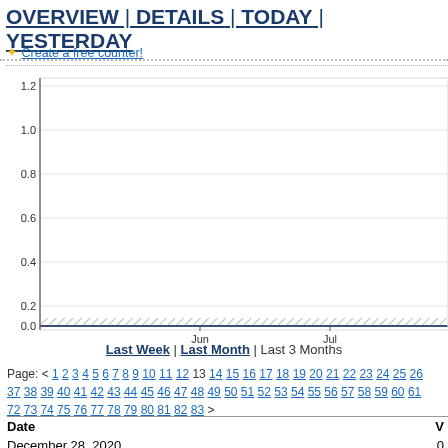OVERVIEW | DETAILS | TODAY | YESTERDAY
* Create a free counter!
[Figure (continuous-plot): Line chart showing visits over time from approximately May to July 2020. Y-axis ranges from 0.0 to 1.2 in increments of 0.2. The data line is flat at 0.0 throughout with a hatched/shaded band at the bottom. X-axis shows Jun and Jul labels.]
Last Week | Last Month | Last 3 Months
Page: < 1 2 3 4 5 6 7 8 9 10 11 12 13 14 15 16 17 18 19 20 21 22 23 24 25 26 37 38 39 40 41 42 43 44 45 46 47 48 49 50 51 52 53 54 55 56 57 58 59 60 61 72 73 74 75 76 77 78 79 80 81 82 83 >
| Date | V |
| --- | --- |
| December 28, 2020 | 0 |
| December 27, 2020 | 0 |